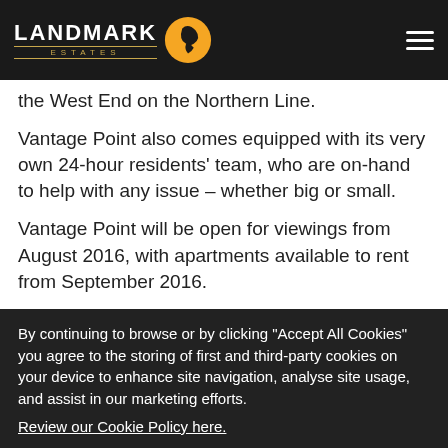LANDMARK ESTATES
the West End on the Northern Line.
Vantage Point also comes equipped with its very own 24-hour residents' team, who are on-hand to help with any issue – whether big or small.
Vantage Point will be open for viewings from August 2016, with apartments available to rent from September 2016.
By continuing to browse or by clicking "Accept All Cookies" you agree to the storing of first and third-party cookies on your device to enhance site navigation, analyse site usage, and assist in our marketing efforts.
Review our Cookie Policy here.